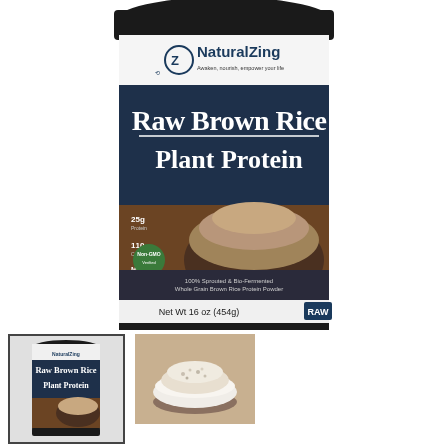[Figure (photo): Product photo of NaturalZing Raw Brown Rice Plant Protein container (black lid, dark navy label), Net Wt 16 oz (454g), showing bowl of brown rice protein powder. RAW label visible at bottom right.]
[Figure (photo): Thumbnail of the same NaturalZing Raw Brown Rice Plant Protein container, smaller view with border highlight.]
[Figure (photo): Thumbnail photo of a small white bowl filled with brown rice protein powder on a wooden surface.]